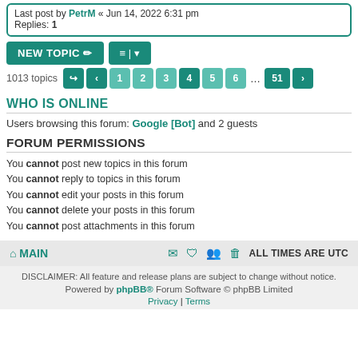Last post by PetrM « Jun 14, 2022 6:31 pm
Replies: 1
NEW TOPIC | Sort | 1013 topics | 1 2 3 4 5 6 ... 51
WHO IS ONLINE
Users browsing this forum: Google [Bot] and 2 guests
FORUM PERMISSIONS
You cannot post new topics in this forum
You cannot reply to topics in this forum
You cannot edit your posts in this forum
You cannot delete your posts in this forum
You cannot post attachments in this forum
MAIN | ALL TIMES ARE UTC
DISCLAIMER: All feature and release plans are subject to change without notice.
Powered by phpBB® Forum Software © phpBB Limited
Privacy | Terms